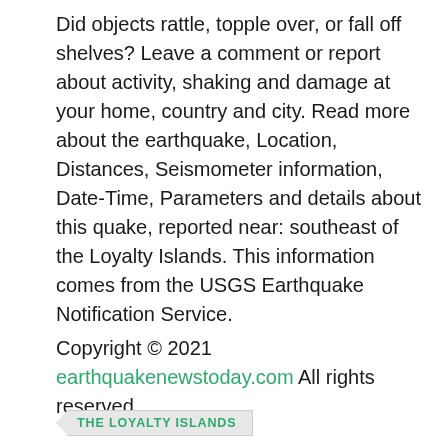Did objects rattle, topple over, or fall off shelves? Leave a comment or report about activity, shaking and damage at your home, country and city. Read more about the earthquake, Location, Distances, Seismometer information, Date-Time, Parameters and details about this quake, reported near: southeast of the Loyalty Islands. This information comes from the USGS Earthquake Notification Service.
Copyright © 2021 earthquakenewstoday.com All rights reserved.
THE LOYALTY ISLANDS
[Figure (logo): App icon with dark blue rounded square background and white shield/badge with person silhouette logo]